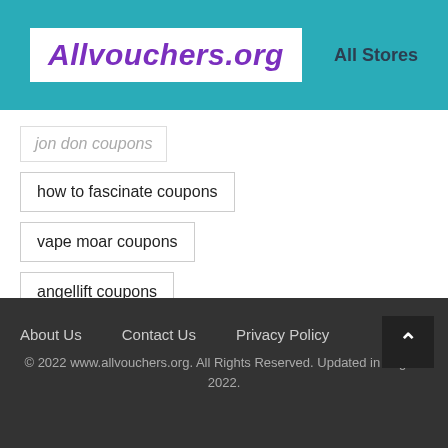Allvouchers.org | All Stores
jon don coupons
how to fascinate coupons
vape moar coupons
angellift coupons
About Us   Contact Us   Privacy Policy   © 2022 www.allvouchers.org. All Rights Reserved. Updated in August 2022.